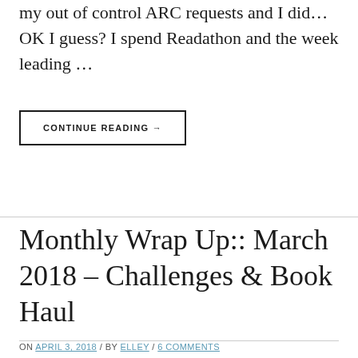my out of control ARC requests and I did… OK I guess? I spend Readathon and the week leading …
CONTINUE READING →
Monthly Wrap Up:: March 2018 – Challenges & Book Haul
ON APRIL 3, 2018 / BY ELLEY / 6 COMMENTS